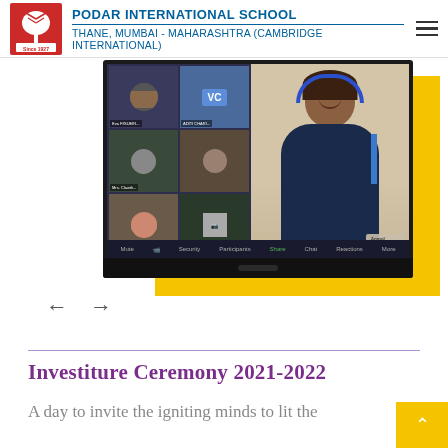PODAR INTERNATIONAL SCHOOL
THANE, MUMBAI - MAHARASHTRA (CAMBRIDGE INTERNATIONAL)
[Figure (photo): Screenshot of an online video conference (likely Zoom) displayed on a monitor. The screen shows a teacher/presenter wearing headphones in the main view on the right, and a grid of student participants on the left. Yellow background accent visible behind the monitor. Navigation arrows (left and right) below the image.]
Investiture Ceremony 2021-2022
A day to invite the igniting minds to lit the